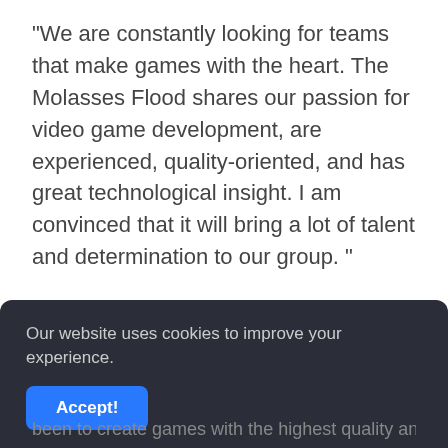"We are constantly looking for teams that make games with the heart. The Molasses Flood shares our passion for video game development, are experienced, quality-oriented, and has great technological insight. I am convinced that it will bring a lot of talent and determination to our group. "
On the other hand, Forrest Dowling, who is the person in charge of the purchased studio, stated:
“Since founding The Molasses Flood, our goal has
Our website uses cookies to improve your experience.
Accept!